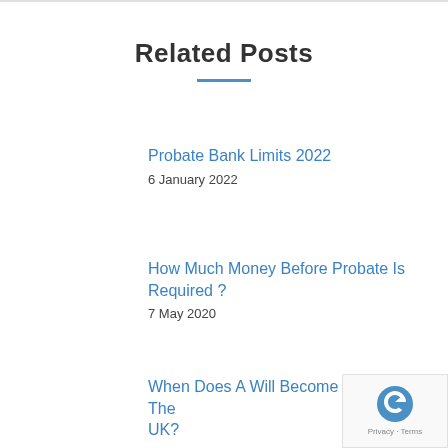Related Posts
Probate Bank Limits 2022
6 January 2022
How Much Money Before Probate Is Required ?
7 May 2020
When Does A Will Become Invalid In The UK?
23 April 2020